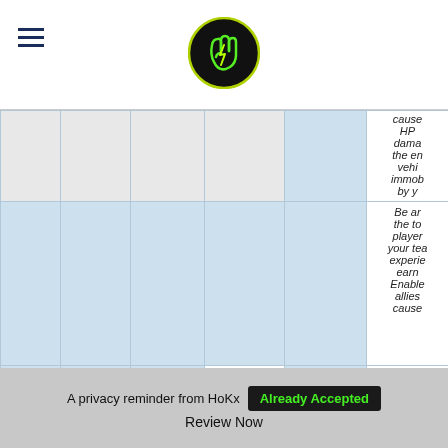HoKx logo and navigation header
| Type | SPG-15 | Mission Name | War Gods | Primary condition |  |
| --- | --- | --- | --- | --- | --- |
|  |  |  |  |  | HP damage the en... vehi... immob... by y... |
|  |  |  |  |  | Be an... the to... player... your tea... experie... earn... Enable... allies... cause... |
| Type | SPG-15 | Mission Name | War Gods | Primary condition |  |
A privacy reminder from HoKx
Already Accepted
Review Now